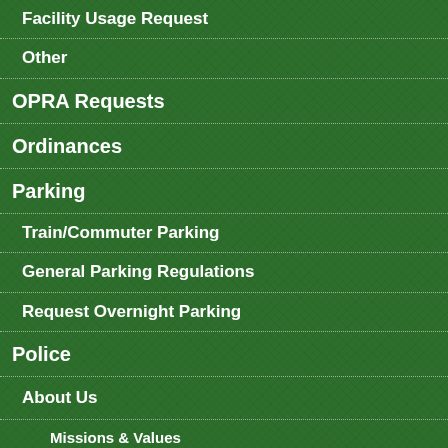Facility Usage Request
Other
OPRA Requests
Ordinances
Parking
Train/Commuter Parking
General Parking Regulations
Request Overnight Parking
Police
About Us
Missions & Values
History of the Department